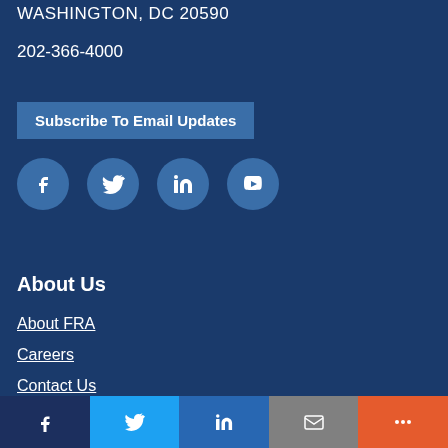WASHINGTON, DC 20590
202-366-4000
Subscribe To Email Updates
[Figure (other): Social media icons: Facebook, Twitter, LinkedIn, YouTube]
About Us
About FRA
Careers
Contact Us
FRA Civil Rights
Doing Business with FRA
Facebook | Twitter | LinkedIn | Email | More